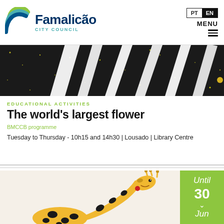[Figure (logo): Famalicão City Council logo with teal and green arc graphic]
PT EN MENU
[Figure (photo): Close-up photo of a large white flower petals on dark sparkly background]
EDUCATIONAL ACTIVITIES
The world's largest flower
BMCCB programme
Tuesday to Thursday - 10h15 and 14h30 | Lousado | Library Centre
[Figure (illustration): Illustration of a yellow giraffe bending its neck down, on beige background]
Until 30 Jun